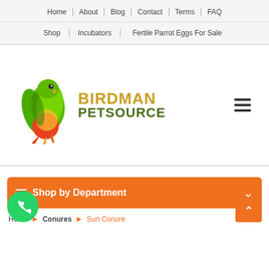Home | About | Blog | Contact | Terms | FAQ
Shop | Incubators | Fertile Parrot Eggs For Sale
[Figure (logo): Birdman Petsource logo with green parrot illustration and brand name in gold and dark green text]
Shop by Department
Home > Conures > Sun Conure